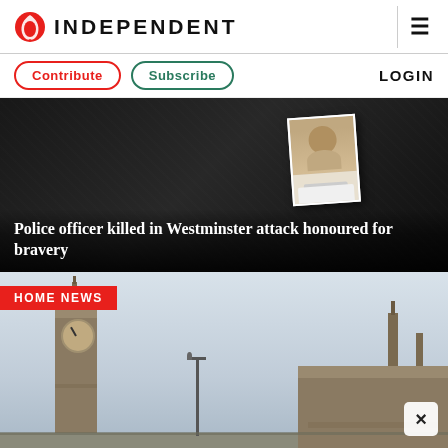INDEPENDENT
Contribute  Subscribe  LOGIN
[Figure (photo): Dark fabric background with a small police officer ID/memorial photo card partially visible. Hero news image for story about Westminster attack.]
Police officer killed in Westminster attack honoured for bravery
HOME NEWS
[Figure (photo): Skyline photo showing Big Ben (Elizabeth Tower) and the Houses of Parliament/Westminster Abbey spires against a pale grey sky. London cityscape.]